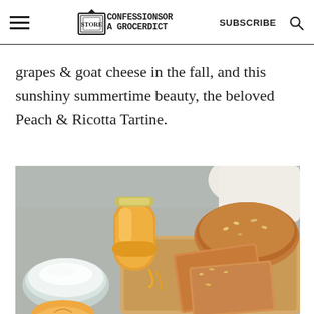CONFESSIONS OF A GROCERYDICT — SUBSCRIBE
grapes & goat cheese in the fall, and this sunshiny summertime beauty, the beloved Peach & Ricotta Tartine.
[Figure (photo): Food styling photo showing a bear-shaped honey jar, a bowl of ricotta cheese, sliced multigrain bread on a wooden cutting board, and a peach slice visible at the bottom, all on a grey surface with a white cloth bag in the background.]